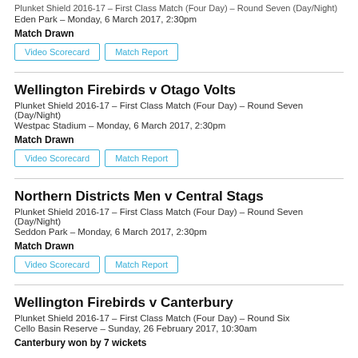Plunket Shield 2016-17 – First Class Match (Four Day) – Round Seven (Day/Night)
Eden Park – Monday, 6 March 2017, 2:30pm
Match Drawn
Video Scorecard | Match Report
Wellington Firebirds v Otago Volts
Plunket Shield 2016-17 – First Class Match (Four Day) – Round Seven (Day/Night)
Westpac Stadium – Monday, 6 March 2017, 2:30pm
Match Drawn
Video Scorecard | Match Report
Northern Districts Men v Central Stags
Plunket Shield 2016-17 – First Class Match (Four Day) – Round Seven (Day/Night)
Seddon Park – Monday, 6 March 2017, 2:30pm
Match Drawn
Video Scorecard | Match Report
Wellington Firebirds v Canterbury
Plunket Shield 2016-17 – First Class Match (Four Day) – Round Six
Cello Basin Reserve – Sunday, 26 February 2017, 10:30am
Canterbury won by 7 wickets